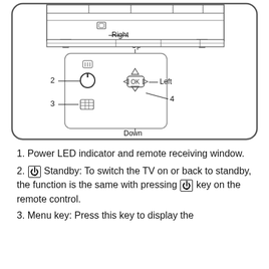[Figure (engineering-diagram): Diagram of the back of a TV showing labeled components: Right and Up/Down/Left directional labels with arrows pointing to an OK button navigation cluster, numbered labels 2, 3, 4 pointing to specific controls (standby button, menu button, down arrow).]
1. Power LED indicator and remote receiving window.
2. [power symbol] Standby: To switch the TV on or back to standby, the function is the same with pressing [power symbol] key on the remote control.
3. Menu key: Press this key to display the...